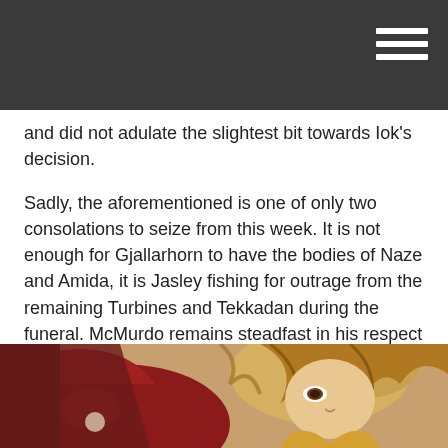and did not adulate the slightest bit towards Iok's decision.
Sadly, the aforementioned is one of only two consolations to seize from this week. It is not enough for Gjallarhorn to have the bodies of Naze and Amida, it is Jasley fishing for outrage from the remaining Turbines and Tekkadan during the funeral. McMurdo remains steadfast in his respect for Naze, but now that he's gone, Jasley is more open in his ambitions to wipe Tekkadan out. It is not shocking in any way, but it is good to see it finally coming to fruition after being already established so long ago...
...When I mean 'good' though, it is good in the narrative sense because it lets the show progress toward its end. It is NOT good however, since there's not much joy or laughter to be had in this episode.
[Figure (illustration): Anime illustration showing characters from Mobile Suit Gundam: Iron-Blooded Orphans, partially cropped at bottom of page]